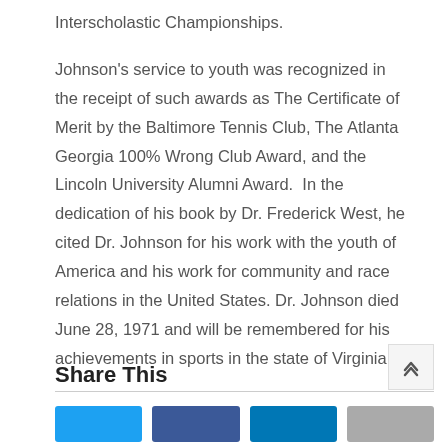Interscholastic Championships.
Johnson's service to youth was recognized in the receipt of such awards as The Certificate of Merit by the Baltimore Tennis Club, The Atlanta Georgia 100% Wrong Club Award, and the Lincoln University Alumni Award.  In the dedication of his book by Dr. Frederick West, he cited Dr. Johnson for his work with the youth of America and his work for community and race relations in the United States. Dr. Johnson died June 28, 1971 and will be remembered for his achievements in sports in the state of Virginia.
Share This